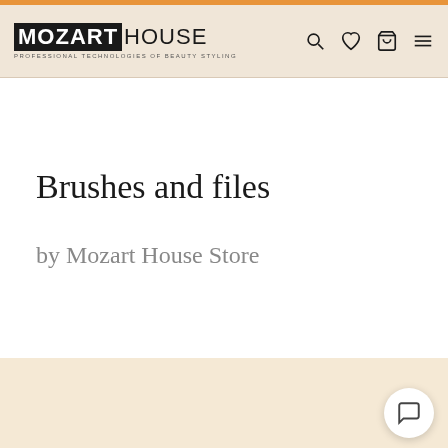MOZART HOUSE — PROFESSIONAL TECHNOLOGIES OF BEAUTY STYLING
Brushes and files
by Mozart House Store